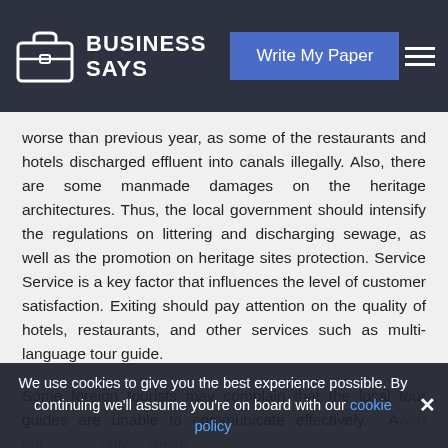BUSINESS SAYS | Write My Paper
worse than previous year, as some of the restaurants and hotels discharged effluent into canals illegally. Also, there are some manmade damages on the heritage architectures. Thus, the local government should intensify the regulations on littering and discharging sewage, as well as the promotion on heritage sites protection. Service Service is a key factor that influences the level of customer satisfaction. Exiting should pay attention on the quality of hotels, restaurants, and other services such as multi- language tour guide.
Some foreign tourists may complain that the local tour guides are unable to communicate effectively. A...
We use cookies to give you the best experience possible. By continuing we'll assume you're on board with our cookie policy